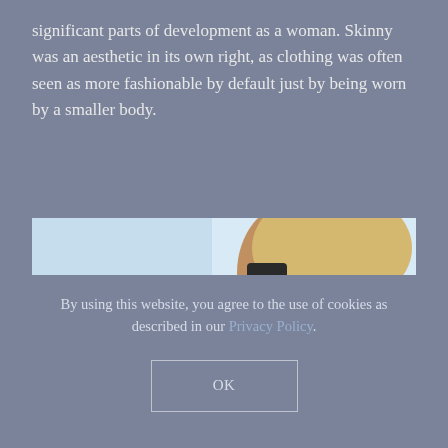significant parts of development as a woman. Skinny was an aesthetic in its own right, as clothing was often seen as more fashionable by default just by being worn by a smaller body.
[Figure (photo): Close-up photo of a tanned woman in a black swimsuit/tank top at a beach, showing her neck, shoulders and upper chest. Light blue sky and white sand visible in background.]
By using this website, you agree to the use of cookies as described in our Privacy Policy.
OK